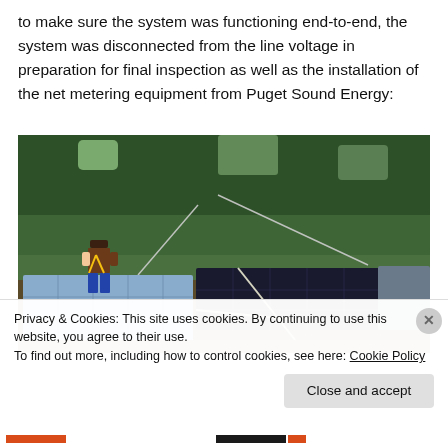to make sure the system was functioning end-to-end, the system was disconnected from the line voltage in preparation for final inspection as well as the installation of the net metering equipment from Puget Sound Energy:
[Figure (photo): A worker in blue overalls and brown jacket standing on a residential rooftop with solar panels installed. Trees visible in background.]
Privacy & Cookies: This site uses cookies. By continuing to use this website, you agree to their use.
To find out more, including how to control cookies, see here: Cookie Policy